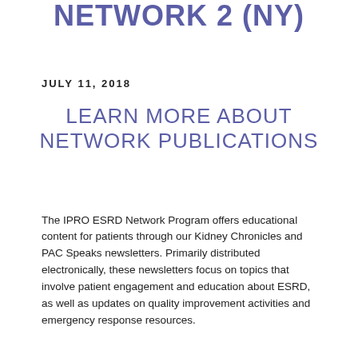NETWORK 2 (NY)
JULY 11, 2018
LEARN MORE ABOUT NETWORK PUBLICATIONS
The IPRO ESRD Network Program offers educational content for patients through our Kidney Chronicles and PAC Speaks newsletters. Primarily distributed electronically, these newsletters focus on topics that involve patient engagement and education about ESRD, as well as updates on quality improvement activities and emergency response resources.